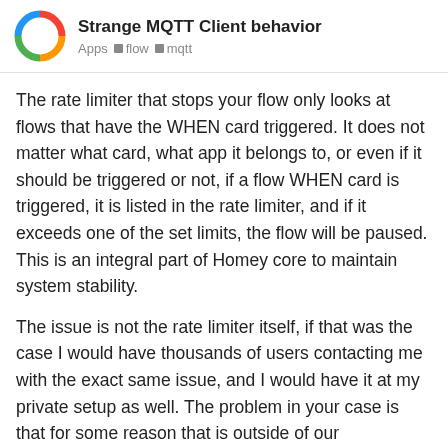Strange MQTT Client behavior
Apps  flow  mqtt
The rate limiter that stops your flow only looks at flows that have the WHEN card triggered. It does not matter what card, what app it belongs to, or even if it should be triggered or not, if a flow WHEN card is triggered, it is listed in the rate limiter, and if it exceeds one of the set limits, the flow will be paused. This is an integral part of Homey core to maintain system stability.
The issue is not the rate limiter itself, if that was the case I would have thousands of users contacting me with the exact same issue, and I would have it at my private setup as well. The problem in your case is that for some reason that is outside of our understanding, the flowcard is triggered, even though it should not
22 / 85